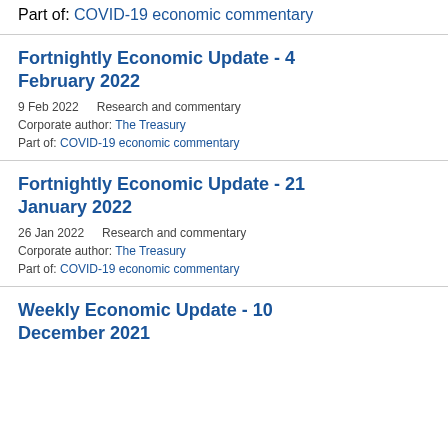Part of: COVID-19 economic commentary
Fortnightly Economic Update - 4 February 2022
9 Feb 2022    Research and commentary
Corporate author: The Treasury
Part of: COVID-19 economic commentary
Fortnightly Economic Update - 21 January 2022
26 Jan 2022    Research and commentary
Corporate author: The Treasury
Part of: COVID-19 economic commentary
Weekly Economic Update - 10 December 2021